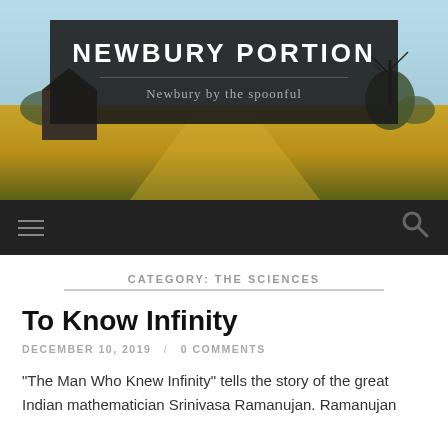[Figure (photo): Rural farm landscape with golden field, barn, bare trees against light blue sky — hero banner image for blog]
NEWBURY PORTION
Newbury by the spoonful
CATEGORY: THE SCIENCES
To Know Infinity
DECEMBER 10, 2019 / 0 COMMENTS
"The Man Who Knew Infinity" tells the story of the great Indian mathematician Srinivasa Ramanujan. Ramanujan